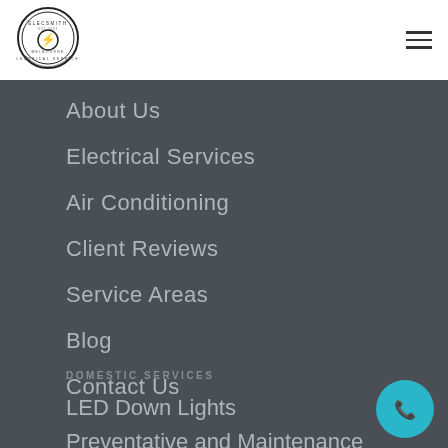[Figure (logo): Elecsmith Electrical Services circular logo with lightning bolt icon in center]
About Us
Electrical Services
Air Conditioning
Client Reviews
Service Areas
Blog
Contact Us
DOMESTIC SERVICES
LED Down Lights
Preventative and Maintenance